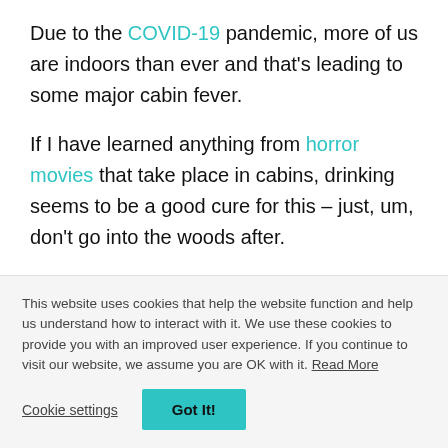Due to the COVID-19 pandemic, more of us are indoors than ever and that's leading to some major cabin fever.
If I have learned anything from horror movies that take place in cabins, drinking seems to be a good cure for this – just, um, don't go into the woods after.
Because we all know drinking is more fun with friends (even through Zoom) we've compiled a list of
This website uses cookies that help the website function and help us understand how to interact with it. We use these cookies to provide you with an improved user experience. If you continue to visit our website, we assume you are OK with it. Read More
Cookie settings | Got It!